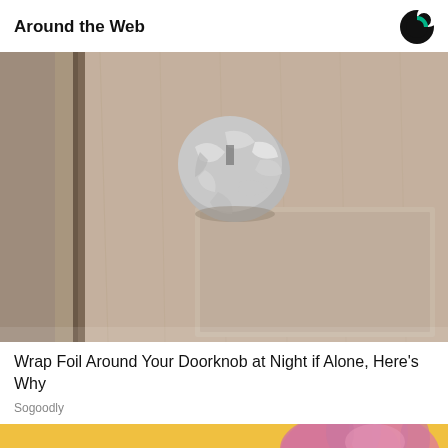Around the Web
[Figure (photo): A door knob wrapped in aluminum/tin foil on a beige/tan interior door]
Wrap Foil Around Your Doorknob at Night if Alone, Here's Why
Sogoodly
[Figure (photo): Close-up of a hand (wearing a glove or with pink/purple coloring) on a yellow surface]